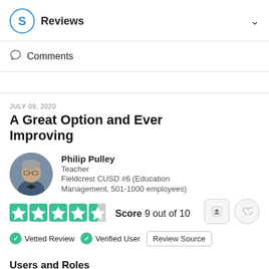S Reviews
Comments
JULY 09, 2020
A Great Option and Ever Improving
Philip Pulley
Teacher
Fieldcrest CUSD #6 (Education Management, 501-1000 employees)
Score 9 out of 10
Vetted Review   Verified User   Review Source
Users and Roles